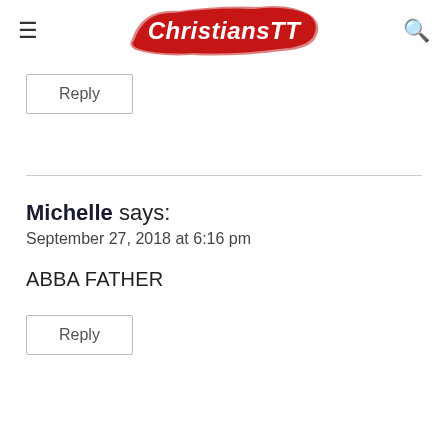ChristiansTT
Reply
Michelle says:
September 27, 2018 at 6:16 pm
ABBA FATHER
Reply